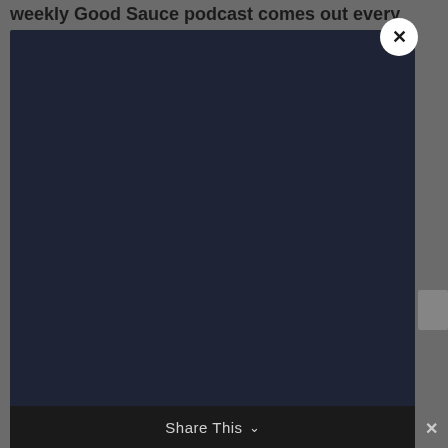weekly Good Sauce podcast comes out every
[Figure (screenshot): Dark navy blue modal/popup overlay with a white circular close button (×) in the top right corner, displayed over a gray dimmed background]
[Figure (screenshot): Bottom bar showing 'Share This' text with a chevron/arrow indicator and a close × button on the right, with partial yellow/gold text visible on the left side]